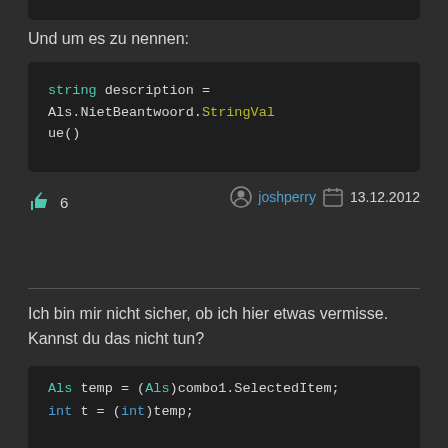Und um es zu nennen:
string description = Als.NietBeantwoord.StringValue()
👍 6   joshperry  13.12.2012
Ich bin mir nicht sicher, ob ich hier etwas vermisse. Kannst du das nicht tun?
Als temp = (Als)combo1.SelectedItem;
int t = (int)temp;